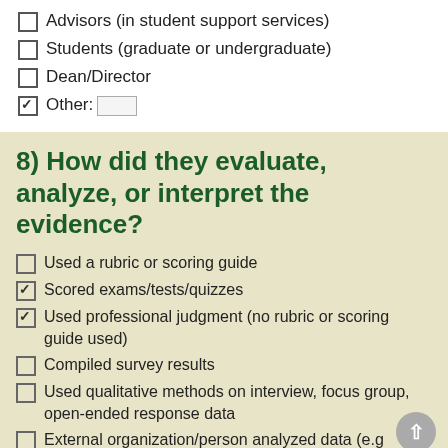Advisors (in student support services)
Students (graduate or undergraduate)
Dean/Director
Other: [checked]
8) How did they evaluate, analyze, or interpret the evidence?
Used a rubric or scoring guide
Scored exams/tests/quizzes [checked]
Used professional judgment (no rubric or scoring guide used) [checked]
Compiled survey results
Used qualitative methods on interview, focus group, open-ended response data
External organization/person analyzed data (e.g...